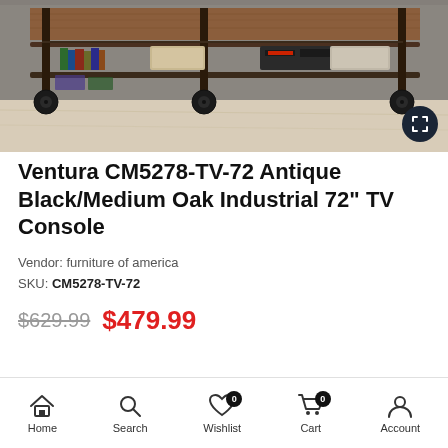[Figure (photo): Industrial TV console/stand with metal frame, dark wheels/casters, wooden shelves holding books, stereo equipment, and storage boxes on a light wood floor]
Ventura CM5278-TV-72 Antique Black/Medium Oak Industrial 72" TV Console
Vendor: furniture of america
SKU: CM5278-TV-72
$629.99  $479.99
Home  Search  Wishlist 0  Cart 0  Account